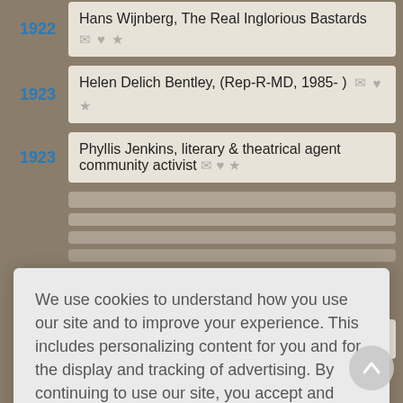1922 — Hans Wijnberg, The Real Inglorious Bastards
1923 — Helen Delich Bentley, (Rep-R-MD, 1985-)
1923 — Phyllis Jenkins, literary & theatrical agent community activist
We use cookies to understand how you use our site and to improve your experience. This includes personalizing content for you and for the display and tracking of advertising. By continuing to use our site, you accept and agree to our use of cookies. Privacy Policy
1923 — John A. Noris, The Lord of the Rings